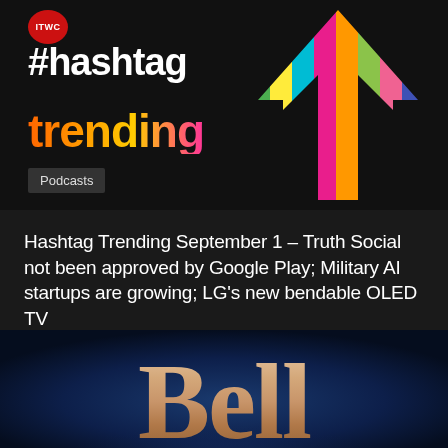[Figure (logo): Hashtag Trending podcast logo on black background with colorful upward arrow, ITWC badge top left]
Podcasts
Hashtag Trending September 1 – Truth Social not been approved by Google Play; Military AI startups are growing; LG's new bendable OLED TV
[Figure (logo): Bell logo large rose-gold letters on dark blue glowing background]